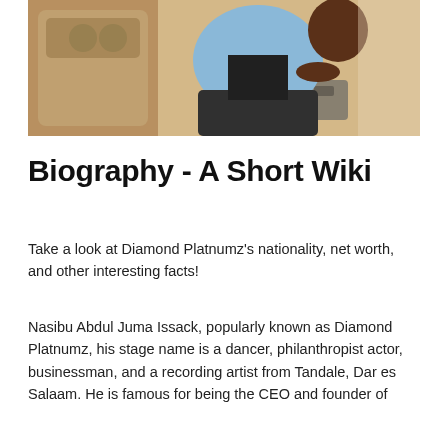[Figure (photo): A man in a light blue shirt and dark pants sitting in the back seat of a luxury car with beige leather interior, wearing a watch, photographed from a low angle.]
Biography - A Short Wiki
Take a look at Diamond Platnumz's nationality, net worth, and other interesting facts!
Nasibu Abdul Juma Issack, popularly known as Diamond Platnumz, his stage name is a dancer, philanthropist actor, businessman, and a recording artist from Tandale, Dar es Salaam. He is famous for being the CEO and founder of